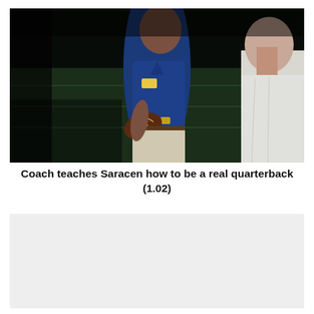[Figure (photo): A football coach in a blue polo shirt holding a football on a dark football field at night, facing a man in a white shirt whose back is to the camera. Green field turf visible in the background.]
Coach teaches Saracen how to be a real quarterback (1.02)
[Figure (other): A light gray rectangular box, likely a placeholder for an embedded video or image.]